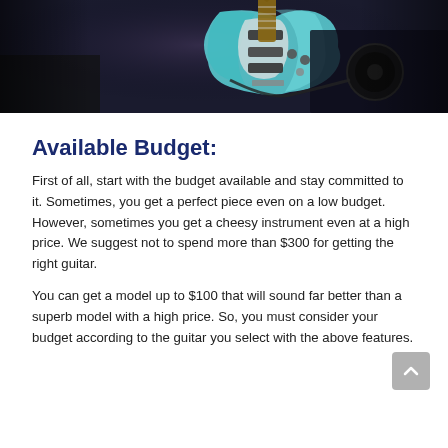[Figure (photo): Dark photograph of a light blue/cyan electric guitar (Stratocaster style) with hardware visible, placed against dark background with amplifier or equipment]
Available Budget:
First of all, start with the budget available and stay committed to it. Sometimes, you get a perfect piece even on a low budget. However, sometimes you get a cheesy instrument even at a high price. We suggest not to spend more than $300 for getting the right guitar.
You can get a model up to $100 that will sound far better than a superb model with a high price. So, you must consider your budget according to the guitar you select with the above features.